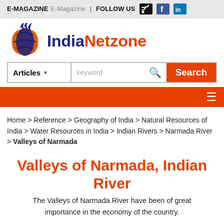E-MAGAZINE | FOLLOW US
[Figure (logo): IndiaNetzone logo with globe/sphere icon and text India in dark blue, Netzone in orange]
[Figure (screenshot): Search bar with Articles dropdown, keyword input, and Search button]
[Figure (screenshot): Orange navigation bar with hamburger menu icon]
Home > Reference > Geography of India > Natural Resources of India > Water Resources in India > Indian Rivers > Narmada River > Valleys of Narmada
Valleys of Narmada, Indian River
The Valleys of Narmada River have been of great importance in the economy of the country.